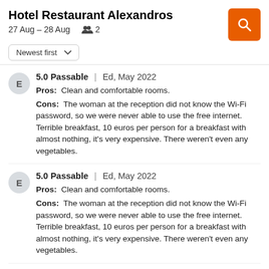Hotel Restaurant Alexandros
27 Aug – 28 Aug  2
Newest first
5.0 Passable | Ed, May 2022
Pros: Clean and comfortable rooms.
Cons: The woman at the reception did not know the Wi-Fi password, so we were never able to use the free internet. Terrible breakfast, 10 euros per person for a breakfast with almost nothing, it's very expensive. There weren't even any vegetables.
5.0 Passable | Ed, May 2022
Pros: Clean and comfortable rooms.
Cons: The woman at the reception did not know the Wi-Fi password, so we were never able to use the free internet. Terrible breakfast, 10 euros per person for a breakfast with almost nothing, it's very expensive. There weren't even any vegetables.
8.0 Great | Burak, Apr 2022
Pros: Perfect hospitality, kind staff.